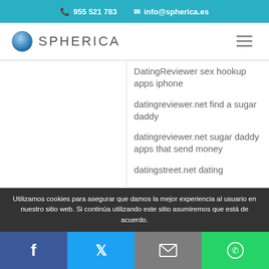955 521 783   info@spherica.es
[Figure (logo): Spherica logo with globe icon and text SPHERICA]
DatingReviewer sex hookup apps iphone
datingreviewer.net find a sugar daddy
datingreviewer.net sugar daddy apps that send money
datingstreet.net dating
Utilizamos cookies para asegurar que damos la mejor experiencia al usuario en nuestro sitio web. Si continúa utilizando este sitio asumiremos que está de acuerdo.